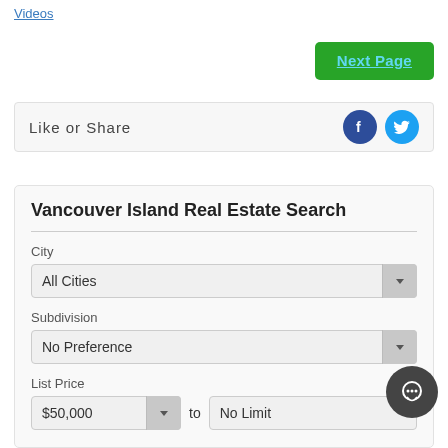Videos
Next Page
Like or Share
[Figure (screenshot): Facebook and Twitter social sharing icons]
Vancouver Island Real Estate Search
City
All Cities
Subdivision
No Preference
List Price
$50,000
to
No Limit